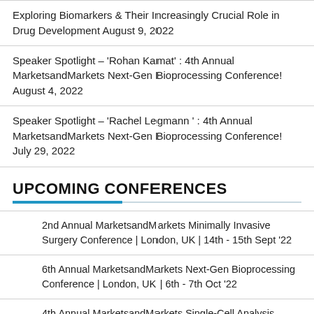Exploring Biomarkers & Their Increasingly Crucial Role in Drug Development August 9, 2022
Speaker Spotlight – 'Rohan Kamat' : 4th Annual MarketsandMarkets Next-Gen Bioprocessing Conference! August 4, 2022
Speaker Spotlight – 'Rachel Legmann ' : 4th Annual MarketsandMarkets Next-Gen Bioprocessing Conference! July 29, 2022
UPCOMING CONFERENCES
2nd Annual MarketsandMarkets Minimally Invasive Surgery Conference | London, UK | 14th - 15th Sept '22
6th Annual MarketsandMarkets Next-Gen Bioprocessing Conference | London, UK | 6th - 7th Oct '22
4th Annual MarketsandMarkets Single-Cell Analysis Conference | London, UK | 6th - 7th Oct '22
4th Annual MarketsandMarkets Bioprocessing Conference…